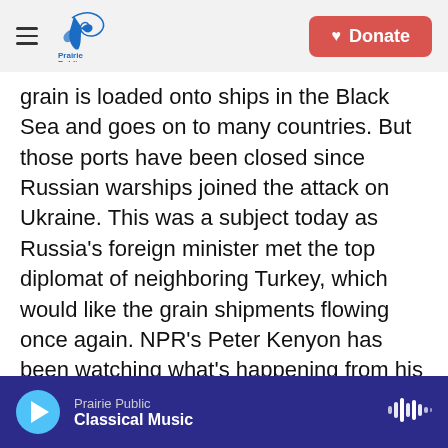Prairie Public | Donate
grain is loaded onto ships in the Black Sea and goes on to many countries. But those ports have been closed since Russian warships joined the attack on Ukraine. This was a subject today as Russia's foreign minister met the top diplomat of neighboring Turkey, which would like the grain shipments flowing once again. NPR's Peter Kenyon has been watching what's happening from his base in Istanbul.
PETER KENYON, BYLINE: Once the meeting broke up, Sergey Lavrov and Mevlut Cavusoglu came out for a news conference. The Turkish foreign minister
Prairie Public | Classical Music